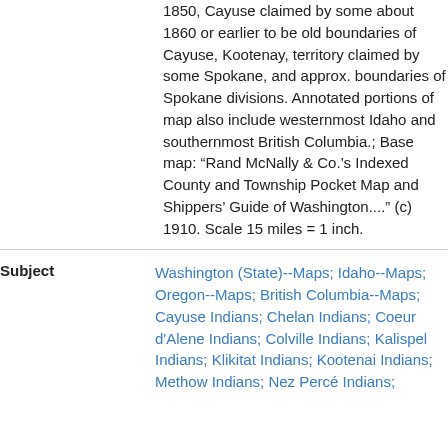1850, Cayuse claimed by some about 1860 or earlier to be old boundaries of Cayuse, Kootenay, territory claimed by some Spokane, and approx. boundaries of Spokane divisions. Annotated portions of map also include westernmost Idaho and southernmost British Columbia.; Base map: “Rand McNally & Co.’s Indexed County and Township Pocket Map and Shippers’ Guide of Washington....” (c) 1910. Scale 15 miles = 1 inch.
| Subject | Links |
| --- | --- |
| Subject | Washington (State)--Maps; Idaho--Maps; Oregon--Maps; British Columbia--Maps; Cayuse Indians; Chelan Indians; Coeur d'Alene Indians; Colville Indians; Kalispel Indians; Klikitat Indians; Kootenai Indians; Methow Indians; Nez Percé Indians; |